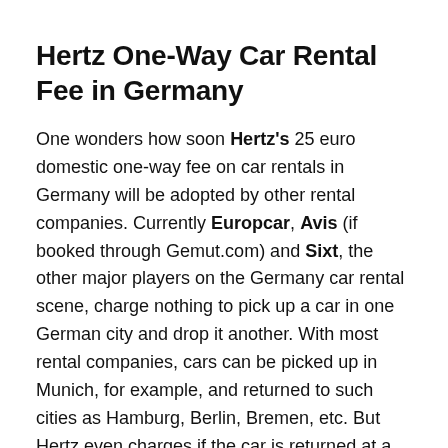Hertz One-Way Car Rental Fee in Germany
One wonders how soon Hertz's 25 euro domestic one-way fee on car rentals in Germany will be adopted by other rental companies. Currently Europcar, Avis (if booked through Gemut.com) and Sixt, the other major players on the Germany car rental scene, charge nothing to pick up a car in one German city and drop it another. With most rental companies, cars can be picked up in Munich, for example, and returned to such cities as Hamburg, Berlin, Bremen, etc. But Hertz even charges if the car is returned at a different location in the same city. For example, pick up a car in downtown Frankfurt and you pay a 9 euro fee to return the car at the Frankfurt Airport.